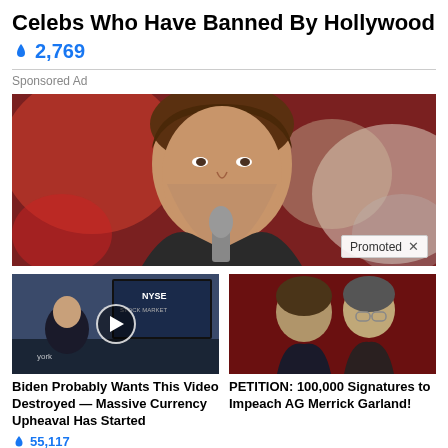Celebs Who Have Banned By Hollywood
🔥 2,769
Sponsored Ad
[Figure (photo): Close-up photo of a man speaking into a microphone, with a 'Promoted X' badge in the bottom right corner]
[Figure (photo): Thumbnail image of a man in a TV studio setting with a play button overlay]
Biden Probably Wants This Video Destroyed — Massive Currency Upheaval Has Started
🔥 55,117
[Figure (photo): Thumbnail image of two older men against a dark red background]
PETITION: 100,000 Signatures to Impeach AG Merrick Garland!